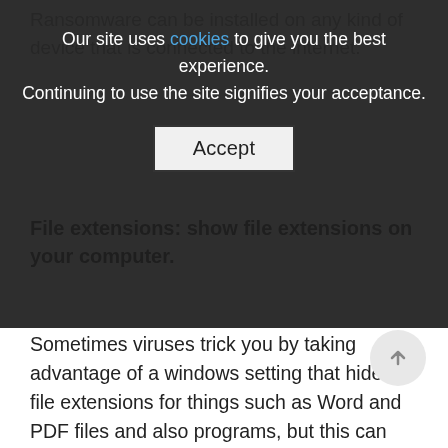Ransomware can be installed on any kind of device that is connected to the internet.
Our site uses cookies to give you the best experience. Continuing to use the site signifies your acceptance.
Accept
File extensions: show file extensions on your computer.
Sometimes viruses trick you by taking advantage of a windows setting that hides file extensions for things such as Word and PDF files and also programs, but this can work against you. Please ask your IT person to disable the “Hide Extensions for known file types” setting on all your office computers.
Anti-virus: By keeping your antivirus software up-to-date, you protect your computer systems from